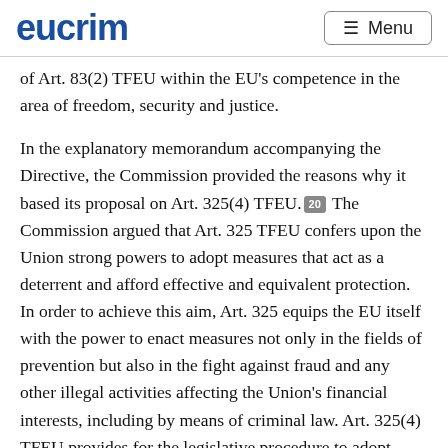eucrim   Menu
of Art. 83(2) TFEU within the EU’s competence in the area of freedom, security and justice.
In the explanatory memorandum accompanying the Directive, the Commission provided the reasons why it based its proposal on Art. 325(4) TFEU.[20] The Commission argued that Art. 325 TFEU confers upon the Union strong powers to adopt measures that act as a deterrent and afford effective and equivalent protection. In order to achieve this aim, Art. 325 equips the EU itself with the power to enact measures not only in the fields of prevention but also in the fight against fraud and any other illegal activities affecting the Union’s financial interests, including by means of criminal law. Art. 325(4) TFEU provides for the legislative procedure to adopt these measures, whereby the term “fraud” within the meaning of this article has to be understood in a broad sense, i.e., including not only fraud but also certain fraud-related criminal offences. This will ensure the